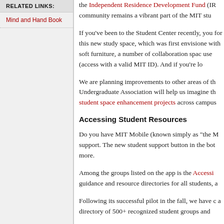RELATED LINKS:
Mind and Hand Book
the Independent Residence Development Fund (IR... community remains a vibrant part of the MIT stu...
If you've been to the Student Center recently, you... for this new study space, which was first envisione... with soft furniture, a number of collaboration spac... use (access with a valid MIT ID). And if you're lo...
We are planning improvements to other areas of th... Undergraduate Association will help us imagine th... student space enhancement projects across campus...
Accessing Student Resources
Do you have MIT Mobile (known simply as "the M... support. The new student support button in the bot... more.
Among the groups listed on the app is the Accessin... guidance and resource directories for all students, a...
Following its successful pilot in the fall, we have c... a directory of 500+ recognized student groups and...
Thanks in part to great rider feedback, the Boston M... Office also extended Tech shuttle service to 11 pm... concerns. For example, enhancements to shuttle in...